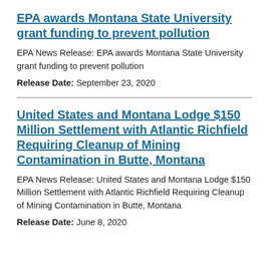EPA awards Montana State University grant funding to prevent pollution
EPA News Release: EPA awards Montana State University grant funding to prevent pollution
Release Date: September 23, 2020
United States and Montana Lodge $150 Million Settlement with Atlantic Richfield Requiring Cleanup of Mining Contamination in Butte, Montana
EPA News Release: United States and Montana Lodge $150 Million Settlement with Atlantic Richfield Requiring Cleanup of Mining Contamination in Butte, Montana
Release Date: June 8, 2020